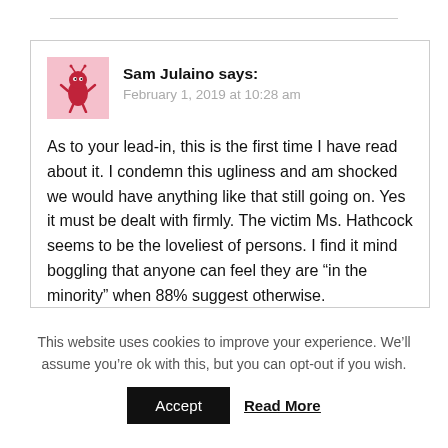[Figure (illustration): Small cartoon monster avatar with pink background]
Sam Julaino says:
February 1, 2019 at 10:28 am
As to your lead-in, this is the first time I have read about it. I condemn this ugliness and am shocked we would have anything like that still going on. Yes it must be dealt with firmly. The victim Ms. Hathcock seems to be the loveliest of persons. I find it mind boggling that anyone can feel they are “in the minority” when 88% suggest otherwise.
This website uses cookies to improve your experience. We’ll assume you’re ok with this, but you can opt-out if you wish.
Accept
Read More